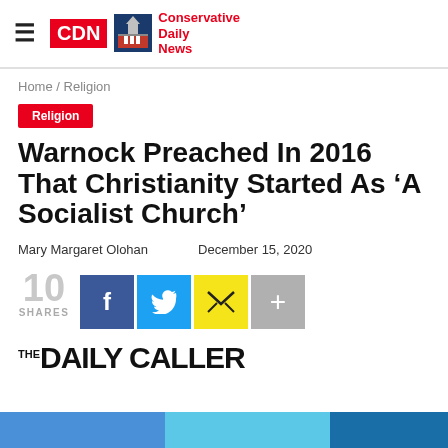CDN Conservative Daily News
Home / Religion
Religion
Warnock Preached In 2016 That Christianity Started As ‘A Socialist Church’
Mary Margaret Olohan   December 15, 2020
10 SHARES
[Figure (screenshot): The Daily Caller logo partially visible at the bottom]